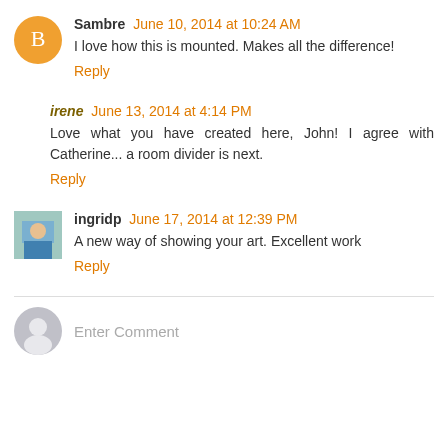Sambre June 10, 2014 at 10:24 AM — I love how this is mounted. Makes all the difference! Reply
irene June 13, 2014 at 4:14 PM — Love what you have created here, John! I agree with Catherine... a room divider is next. Reply
ingridp June 17, 2014 at 12:39 PM — A new way of showing your art. Excellent work Reply
Enter Comment